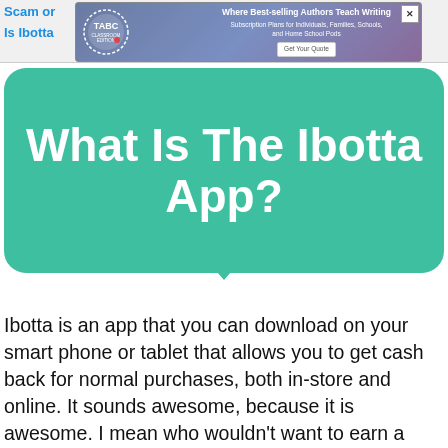[Figure (screenshot): Top navigation/header area with partially visible blue link text 'Scam or' and 'Is Ibotta' and an advertisement banner for TABC Classroom Edition with text 'Where Best-selling Authors Teach Writing', 'Subscription Plans for Individuals, Families, Schools, and Home School Pods', and a 'Get Your Quote' button]
What Is The Ibotta App?
Ibotta is an app that you can download on your smart phone or tablet that allows you to get cash back for normal purchases, both in-store and online. It sounds awesome, because it is awesome. I mean who wouldn't want to earn a little bit of money back doing what they already do, shopping for groceries, clothes, personal care items, etc.?? I sure would.